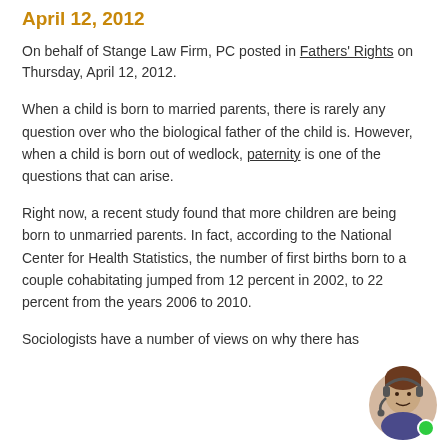April 12, 2012
On behalf of Stange Law Firm, PC posted in Fathers' Rights on Thursday, April 12, 2012.
When a child is born to married parents, there is rarely any question over who the biological father of the child is. However, when a child is born out of wedlock, paternity is one of the questions that can arise.
Right now, a recent study found that more children are being born to unmarried parents. In fact, according to the National Center for Health Statistics, the number of first births born to a couple cohabitating jumped from 12 percent in 2002, to 22 percent from the years 2006 to 2010.
Sociologists have a number of views on why there has